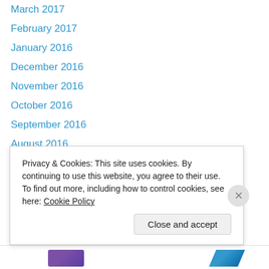March 2017
February 2017
January 2016
December 2016
November 2016
October 2016
September 2016
August 2016
July 2016
June 2016
May 2016
April 2016
March 2016
February 2016
Privacy & Cookies: This site uses cookies. By continuing to use this website, you agree to their use. To find out more, including how to control cookies, see here: Cookie Policy
Close and accept